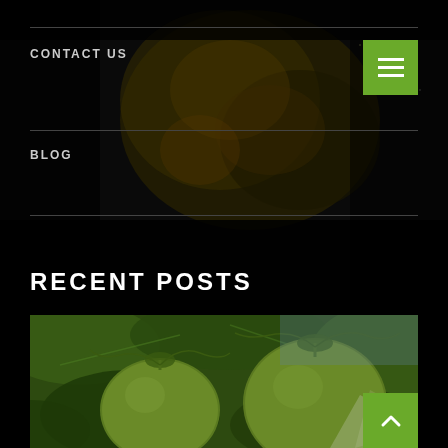[Figure (photo): Dark background with blurred food/salad image overlay covering top portion of page]
CONTACT US
[Figure (screenshot): Green hamburger menu button with three white horizontal lines]
BLOG
RECENT POSTS
[Figure (photo): Close-up photograph of green unripe tomatoes growing on vine with leaves]
[Figure (other): Green back-to-top button with white upward chevron arrow]